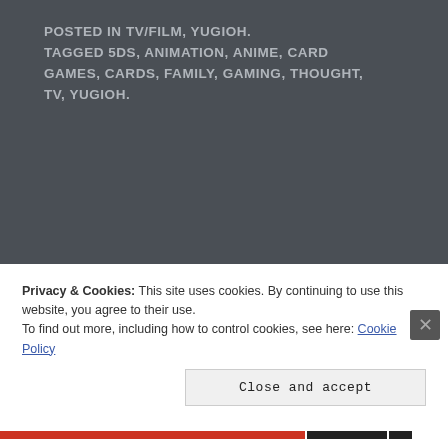POSTED IN TV/FILM, YUGIOH. TAGGED 5DS, ANIMATION, ANIME, CARD GAMES, CARDS, FAMILY, GAMING, THOUGHT, TV, YUGIOH.
LEAVE A REPLY
Your email address will not be published. Required fields are marked *
Privacy & Cookies: This site uses cookies. By continuing to use this website, you agree to their use.
To find out more, including how to control cookies, see here: Cookie Policy
Close and accept